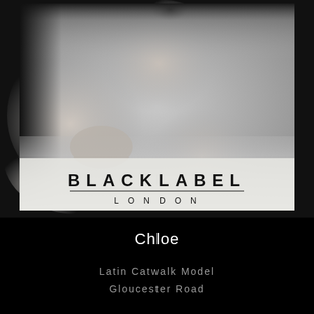[Figure (photo): Black and white photograph of a woman in black lingerie kneeling on a white bed, with 'BLACK LABEL LONDON' logo overlaid at the bottom of the image]
Chloe
Latin Catwalk Model
Gloucester Road